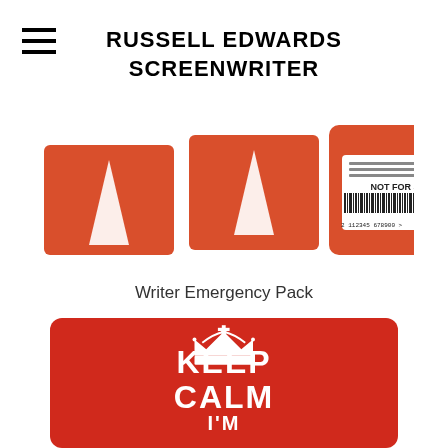RUSSELL EDWARDS SCREENWRITER
[Figure (photo): Product image of a Writer Emergency Pack - showing orange/red screenplay script covers with barcodes and copyright text 'NOT FOR SALE']
Writer Emergency Pack
[Figure (photo): Keep Calm I'm A Writer - red card with white crown illustration and text 'KEEP CALM I'M A WRITER' in bold white letters]